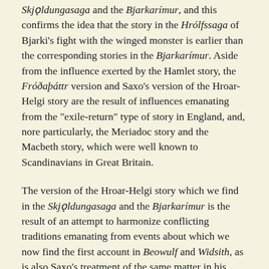Skjǫldungasaga and the Bjarkarímur, and this confirms the idea that the story in the Hrólfssaga of Bjarki's fight with the winged monster is earlier than the corresponding stories in the Bjarkarímur. Aside from the influence exerted by the Hamlet story, the Fróðaþáttr version and Saxo's version of the Hroar-Helgi story are the result of influences emanating from the "exile-return" type of story in England, and, nore particularly, the Meriadoc story and the Macbeth story, which were well known to Scandinavians in Great Britain.
The version of the Hroar-Helgi story which we find in the Skjǫldungasaga and the Bjarkarímur is the result of an attempt to harmonize conflicting traditions emanating from events about which we now find the first account in Beowulf and Widsith, as is also Saxo's treatment of the same matter in his sixth and seventh books.
The change of names in Saxo's version of the Hroar-Helgi story is the result of arbitrary action on his part in order to conceal the fact that he introduces into his history the Hroar-Helgi group of kings a second time, namely in his seventh book, and gives an account of them that conflicts with the account already given of